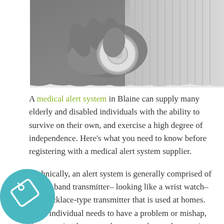[Figure (photo): Black and white close-up photograph of elderly hands pressing a medical alert button/device, with a person in a knit sweater visible in the background.]
A medical alert system in Blaine can supply many elderly and disabled individuals with the ability to survive on their own, and exercise a high degree of independence. Here's what you need to know before registering with a medical alert system supplier.
Technically, an alert system is generally comprised of a wrist band transmitter– looking like a wrist watch– or a necklace-type transmitter that is used at homes. If the individual needs to have a problem or mishap, they can simply press a button on the used transmitter to interact with